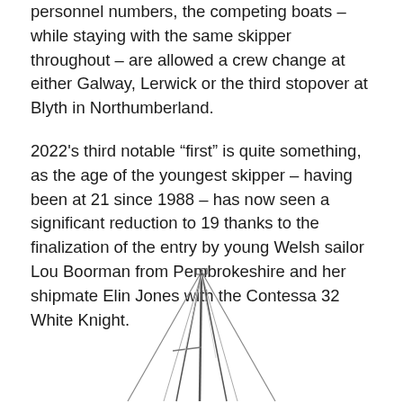personnel numbers, the competing boats – while staying with the same skipper throughout – are allowed a crew change at either Galway, Lerwick or the third stopover at Blyth in Northumberland.
2022's third notable “first” is quite something, as the age of the youngest skipper – having been at 21 since 1988 – has now seen a significant reduction to 19 thanks to the finalization of the entry by young Welsh sailor Lou Boorman from Pembrokeshire and her shipmate Elin Jones with the Contessa 32 White Knight.
[Figure (illustration): Line drawing of a sailboat viewed from below/front, showing the mast, boom, forestay, shrouds and sail outline in a minimal schematic style.]